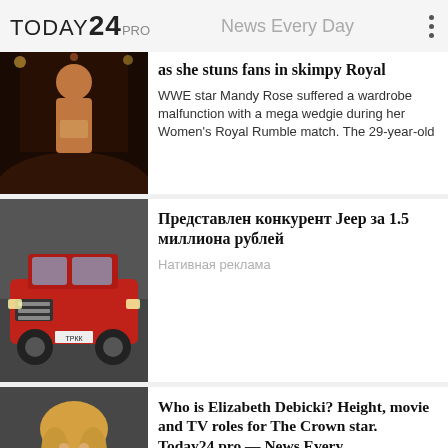TODAY24 PRO — News Every Day
[Figure (photo): WWE arena scene, performer from behind in gold outfit]
as she stuns fans in skimpy Royal
WWE star Mandy Rose suffered a wardrobe malfunction with a mega wedgie during her Women's Royal Rumble match. The 29-year-old
[Figure (photo): Red off-road SUV Jeep competitor vehicle on display]
Представлен конкурент Jeep за 1.5 миллиона рублей
Нативная реклама
[Figure (photo): Elizabeth Debicki blonde actress portrait]
Who is Elizabeth Debicki? Height, movie and TV roles for The Crown star. Today24.pro — News Every
ELIZABETH Debicki has seen her star soar in recent years. The actress is now thrilled after landing a coveted role on Netflix hit series The
[Figure (photo): Partially visible photo at bottom]
Ученые сравнили интимную